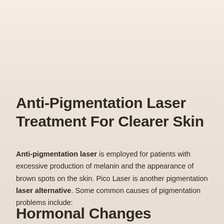Anti-Pigmentation Laser Treatment For Clearer Skin
Anti-pigmentation laser is employed for patients with excessive production of melanin and the appearance of brown spots on the skin. Pico Laser is another pigmentation laser alternative. Some common causes of pigmentation problems include:
Hormonal Changes